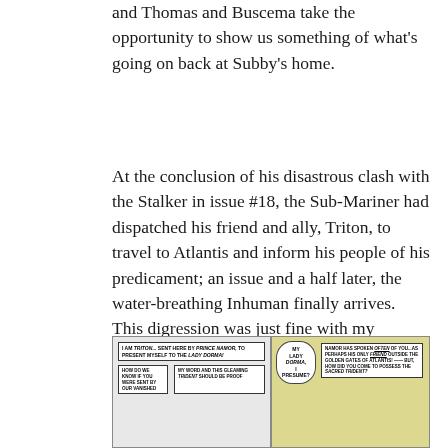and Thomas and Buscema take the opportunity to show us something of what's going on back at Subby's home.
At the conclusion of his disastrous clash with the Stalker in issue #18, the Sub-Mariner had dispatched his friend and ally, Triton, to travel to Atlantis and inform his people of his predicament; an issue and a half later, the water-breathing Inhuman finally arrives.  This digression was just fine with my twelve-year-old self, as I liked the Inhumans quite a bit, with Triton being a particular fave:
[Figure (illustration): Two comic book panels side by side. Left panel shows caption boxes with text: 'I AM TRITON... SENT HERE BY PRINCE NAMOR, TO PRESENT MYSELF TO THE LADY DORMA!' and 'HOW DO WE KNOW IF YOU WERE SENT BY OUR VANISHED' alongside 'MY WORD AND THIS GLEAMING TRIDENT SHOULD BE PROOF'. Right panel shows a speech bubble with 'MY LADY DORMA, I PRESUME?' and caption text 'NAMOR HAS SPOKEN OFTEN OF YOU...AS PERHAPS HIS ONLY FRIEND OUTSIDE THE GOLDEN GATES OF ATLANTIS! — BUT, HOW DID YOU COME TO POSSESS THE SACRED TRIDENT?' with a yellow-green background.]